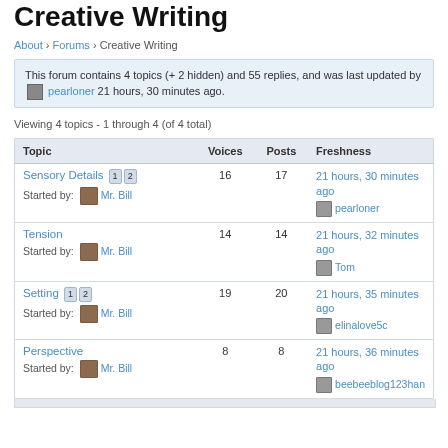Creative Writing
About › Forums › Creative Writing
This forum contains 4 topics (+ 2 hidden) and 55 replies, and was last updated by pearloner 21 hours, 30 minutes ago.
Viewing 4 topics - 1 through 4 (of 4 total)
| Topic | Voices | Posts | Freshness |
| --- | --- | --- | --- |
| Sensory Details 1 2
Started by: Mr. Bill | 16 | 17 | 21 hours, 30 minutes ago
pearloner |
| Tension
Started by: Mr. Bill | 14 | 14 | 21 hours, 32 minutes ago
Tom |
| Setting 1 2
Started by: Mr. Bill | 19 | 20 | 21 hours, 35 minutes ago
elinalove5c |
| Perspective
Started by: Mr. Bill | 8 | 8 | 21 hours, 36 minutes ago
beebeeblog123han |